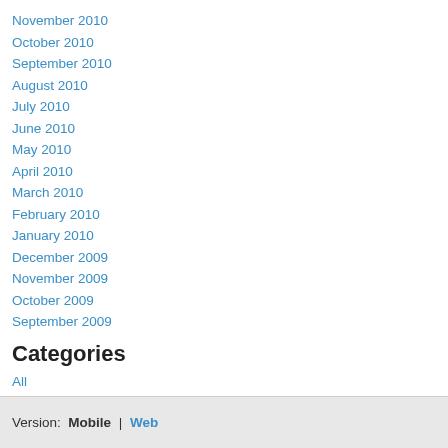November 2010
October 2010
September 2010
August 2010
July 2010
June 2010
May 2010
April 2010
March 2010
February 2010
January 2010
December 2009
November 2009
October 2009
September 2009
Categories
All
Version:  Mobile | Web